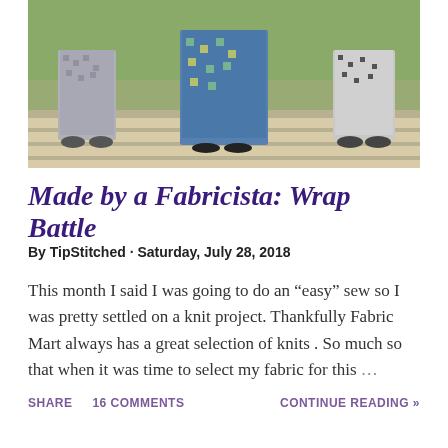[Figure (photo): Three women standing outdoors on a paved surface with grass in the background, each wearing a different wrap dress or skirt. Left person wears a grey/white patterned skirt, center person wears a blue/teal patterned dress, right person wears a black/white patterned skirt.]
Made by a Fabricista: Wrap Battle
By TipStitched · Saturday, July 28, 2018
This month I said I was going to do an “easy” sew so I was pretty settled on a knit project. Thankfully Fabric Mart always has a great selection of knits . So much so that when it was time to select my fabric for this …
SHARE   16 COMMENTS   CONTINUE READING »